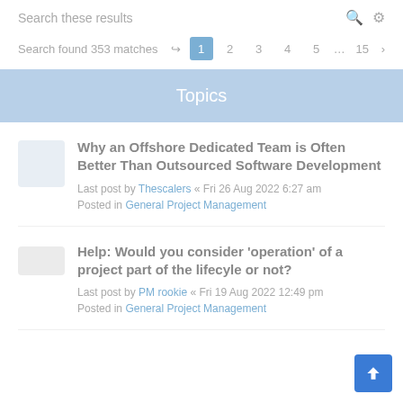Search these results
Search found 353 matches  1 2 3 4 5 ... 15 >
Topics
Why an Offshore Dedicated Team is Often Better Than Outsourced Software Development
Last post by Thescalers « Fri 26 Aug 2022 6:27 am
Posted in General Project Management
Help: Would you consider 'operation' of a project part of the lifecyle or not?
Last post by PM rookie « Fri 19 Aug 2022 12:49 pm
Posted in General Project Management